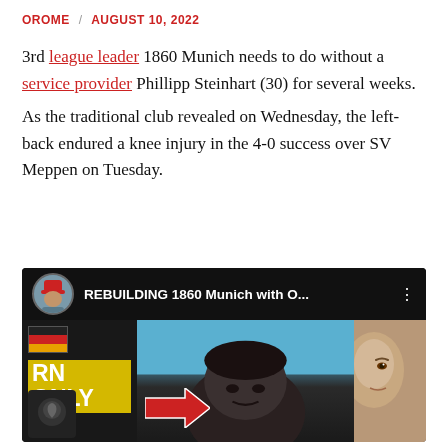OROME / AUGUST 10, 2022
3rd league leader 1860 Munich needs to do without a service provider Phillipp Steinhart (30) for several weeks.
As the traditional club revealed on Wednesday, the left-back endured a knee injury in the 4-0 success over SV Meppen on Tuesday.
[Figure (screenshot): YouTube video thumbnail showing 'REBUILDING 1860 Munich with O...' with a person avatar, German flag, text 'RN ONLY', a red arrow, and two faces visible in the thumbnail.]